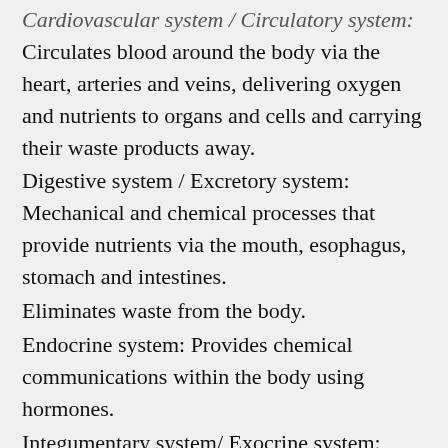Cardiovascular system / Circulatory system: Circulates blood around the body via the heart, arteries and veins, delivering oxygen and nutrients to organs and cells and carrying their waste products away.
Digestive system / Excretory system: Mechanical and chemical processes that provide nutrients via the mouth, esophagus, stomach and intestines.
Eliminates waste from the body.
Endocrine system: Provides chemical communications within the body using hormones.
Integumentary system/ Exocrine system: Skin, hair, nails, sweat and other exocrine glands.
Lymphatic system / Immune system: